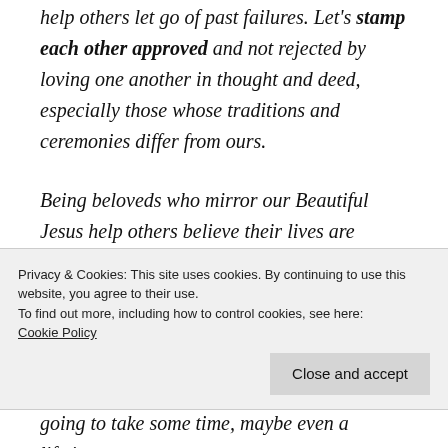help others let go of past failures. Let's stamp each other approved and not rejected by loving one another in thought and deed, especially those whose traditions and ceremonies differ from ours.
Being beloveds who mirror our Beautiful Jesus help others believe their lives are stamped with approval and that their pasts do not define them. It's going to take some time, maybe even a lifetime
Privacy & Cookies: This site uses cookies. By continuing to use this website, you agree to their use.
To find out more, including how to control cookies, see here: Cookie Policy
going to take some time, maybe even a lifetime